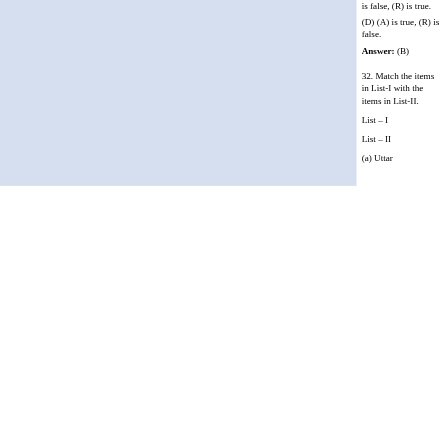is false, (R) is true.
(D) (A) is true, (R) is false.
Answer: (B)
32. Match the items in List-I with the items in List-II.
List – I
List – II
(a) Uttar